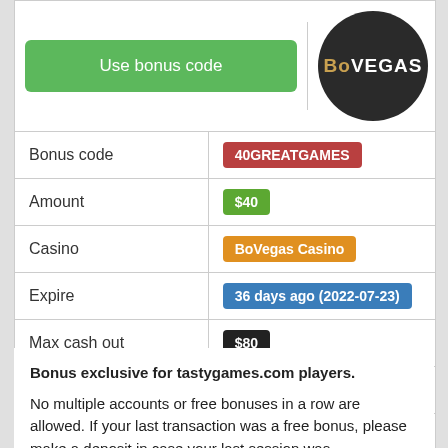[Figure (logo): BoVegas casino logo — dark circle with 'BoVegas' text in gold and white]
| Field | Value |
| --- | --- |
| Bonus code | 40GREATGAMES |
| Amount | $40 |
| Casino | BoVegas Casino |
| Expire | 36 days ago (2022-07-23) |
| Max cash out | $80 |
| WR | 50xB |
| Category | Top Casino Bonuses |
Bonus exclusive for tastygames.com players. No multiple accounts or free bonuses in a row are allowed. If your last transaction was a free bonus, please make a deposit in case your last session was